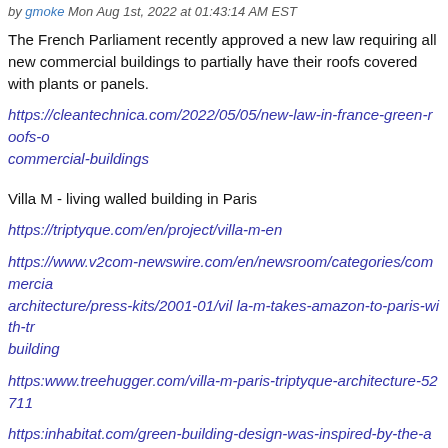by gmoke Mon Aug 1st, 2022 at 01:43:14 AM EST
The French Parliament recently approved a new law requiring all new commercial buildings to partially have their roofs covered with plants or panels.
https://cleantechnica.com/2022/05/05/new-law-in-france-green-roofs-on-commercial-buildings
Villa M - living walled building in Paris
https://triptyque.com/en/project/villa-m-en
https://www.v2com-newswire.com/en/newsroom/categories/commercial-architecture/press-kits/2001-01/vil la-m-takes-amazon-to-paris-with-tro building
https:www.treehugger.com/villa-m-paris-triptyque-architecture-527112
https:inhabitat.com/green-building-design-was-inspired-by-the-amazon-rainforest
Foundational Agrivoltaic Research for Megawatt Scale [FARMS] - US funding large scale combined farm and solar projects